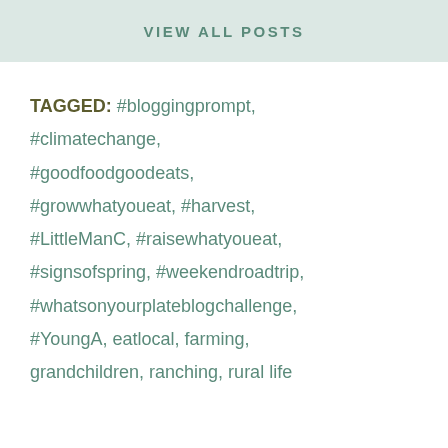VIEW ALL POSTS
TAGGED: #bloggingprompt, #climatechange, #goodfoodgoodeats, #growwhatyoueat, #harvest, #LittleManC, #raisewhatyoueat, #signsofspring, #weekendroadtrip, #whatsonyourplateblogchallenge, #YoungA, eatlocal, farming, grandchildren, ranching, rural life